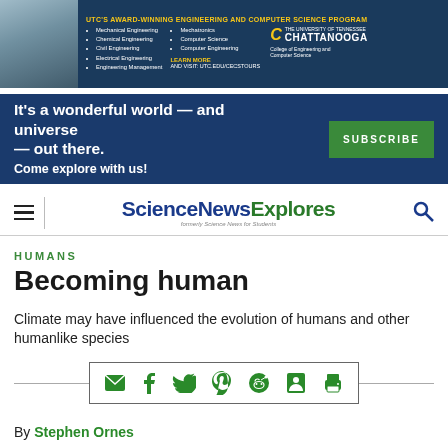[Figure (infographic): UTC award-winning engineering and computer science program advertisement banner with photo of students and university logo]
[Figure (infographic): Science News Explores subscription banner: 'It's a wonderful world — and universe — out there. Come explore with us!' with green Subscribe button]
[Figure (infographic): ScienceNewsExplores navigation bar with hamburger menu and search icon]
HUMANS
Becoming human
Climate may have influenced the evolution of humans and other humanlike species
[Figure (infographic): Social sharing icons: email, Facebook, Twitter, Pinterest, Reddit, contact, print]
By Stephen Ornes